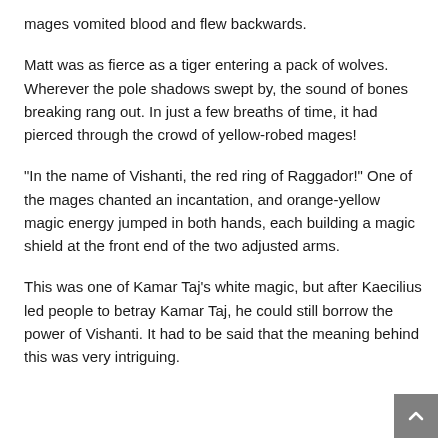mages vomited blood and flew backwards.
Matt was as fierce as a tiger entering a pack of wolves. Wherever the pole shadows swept by, the sound of bones breaking rang out. In just a few breaths of time, it had pierced through the crowd of yellow-robed mages!
“In the name of Vishanti, the red ring of Raggador!” One of the mages chanted an incantation, and orange-yellow magic energy jumped in both hands, each building a magic shield at the front end of the two adjusted arms.
This was one of Kamar Taj’s white magic, but after Kaecilius led people to betray Kamar Taj, he could still borrow the power of Vishanti. It had to be said that the meaning behind this was very intriguing.